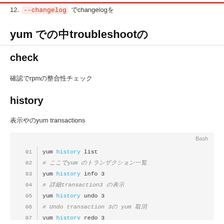12. --changelog でchangelogを
yum でのtroubleshootの
check
確認でrpmの整合性チェック
history
表示やのyum transactions
[Figure (screenshot): Code block labeled Bash showing yum history commands: yum history list, # comment yum, yum history info 3, # transaction3 comment, yum history undo 3, # Undo transaction 3 yum comment, yum history redo 3]